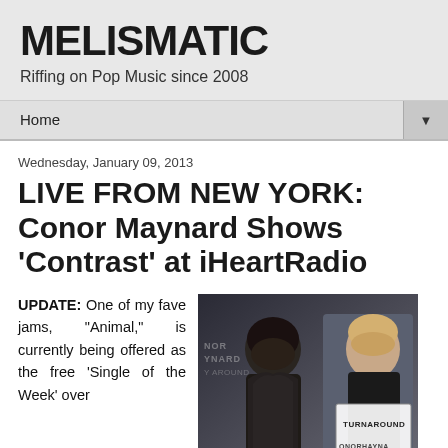MELISMATIC
Riffing on Pop Music since 2008
Home
Wednesday, January 09, 2013
LIVE FROM NEW YORK: Conor Maynard Shows 'Contrast' at iHeartRadio
UPDATE: One of my fave jams, "Animal," is currently being offered as the free 'Single of the Week' over
[Figure (photo): Photo of Conor Maynard holding an album cover/card with text TURNAROUND and CONORHAYNA visible, dark toned image]